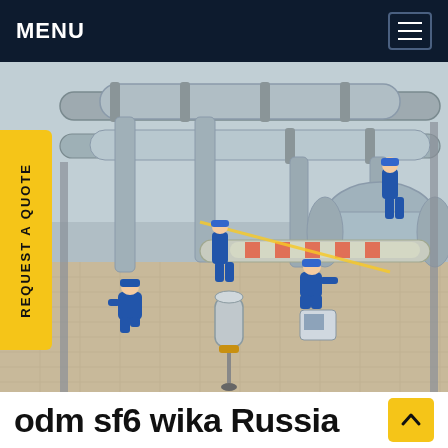MENU
[Figure (photo): Workers in blue coveralls and hard hats servicing large SF6 gas-insulated switchgear (GIS) equipment at an electrical substation. Several men are kneeling and working on pipe joints; one stands on the equipment. Specialized service canisters and tools are visible on the tiled platform.]
REQUEST A QUOTE
odm sf6 wika Russia